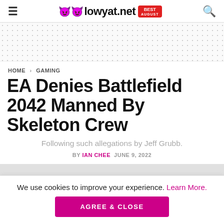lowyat.net — BEST AUGUST
[Figure (other): Dotted decorative banner area with light grey dot pattern on white background]
HOME > GAMING
EA Denies Battlefield 2042 Manned By Skeleton Crew
Following such allegations by Jeff Grubb.
BY IAN CHEE  JUNE 9, 2022
We use cookies to improve your experience. Learn More.
AGREE & CLOSE